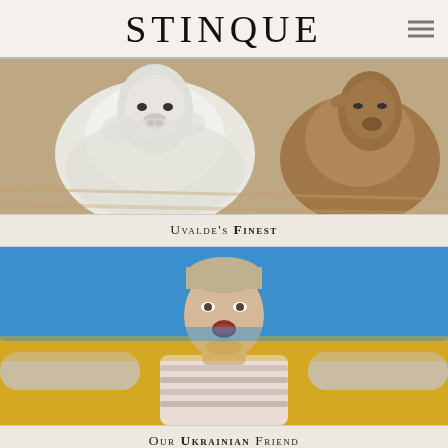STINQUE
[Figure (photo): Two sheep or goats close together, one white and one brownish, photographed outdoors]
Uvalde's Finest
[Figure (photo): Person holding arms out wide wrapped in a Ukrainian flag (blue and yellow), head tilted back with mouth open]
Our Ukrainian Friend
Wild Stinque
TWITTER
FACEBOOK